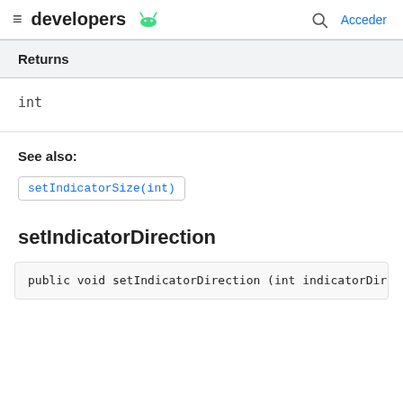developers [android logo] | Acceder
| Returns |
| --- |
| int |
See also:
setIndicatorSize(int)
setIndicatorDirection
public void setIndicatorDirection (int indicatorDire